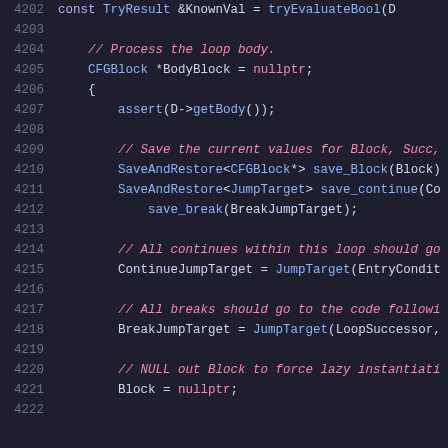[Figure (screenshot): Syntax-highlighted C++ source code snippet showing lines 4202–4222, with a dark background. Line numbers in gray on the left, comments in red/italic, keywords in purple, types in blue, identifiers in white/cyan.]